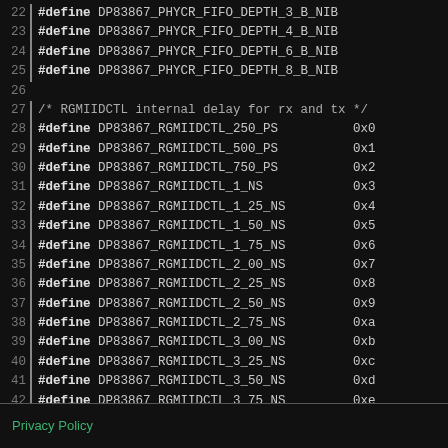22  #define DP83867_PHYCR_FIFO_DEPTH_3_B_NIB
23  #define DP83867_PHYCR_FIFO_DEPTH_4_B_NIB
24  #define DP83867_PHYCR_FIFO_DEPTH_6_B_NIB
25  #define DP83867_PHYCR_FIFO_DEPTH_8_B_NIB
26
27  /* RGMIIDCTL internal delay for rx and tx */
28  #define DP83867_RGMIIDCTL_250_PS   0x0
29  #define DP83867_RGMIIDCTL_500_PS   0x1
30  #define DP83867_RGMIIDCTL_750_PS   0x2
31  #define DP83867_RGMIIDCTL_1_NS     0x3
32  #define DP83867_RGMIIDCTL_1_25_NS  0x4
33  #define DP83867_RGMIIDCTL_1_50_NS  0x5
34  #define DP83867_RGMIIDCTL_1_75_NS  0x6
35  #define DP83867_RGMIIDCTL_2_00_NS  0x7
36  #define DP83867_RGMIIDCTL_2_25_NS  0x8
37  #define DP83867_RGMIIDCTL_2_50_NS  0x9
38  #define DP83867_RGMIIDCTL_2_75_NS  0xa
39  #define DP83867_RGMIIDCTL_3_00_NS  0xb
40  #define DP83867_RGMIIDCTL_3_25_NS  0xc
41  #define DP83867_RGMIIDCTL_3_50_NS  0xd
42  #define DP83867_RGMIIDCTL_3_75_NS  0xe
43  #define DP83867_RGMIIDCTL_4_00_NS  0xf
44
45  #endif
Privacy Policy